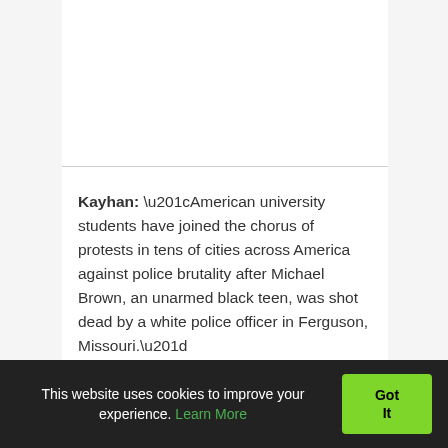Kayhan: “American university students have joined the chorus of protests in tens of cities across America against police brutality after Michael Brown, an unarmed black teen, was shot dead by a white police officer in Ferguson, Missouri.”
This website uses cookies to improve your experience. Learn More